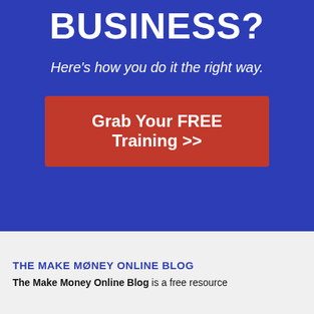BUSINESS?
Here's how you do it the right way.
Grab Your FREE Training >>
THE MAKE MONEY ONLINE BLOG
The Make Money Online Blog is a free resource